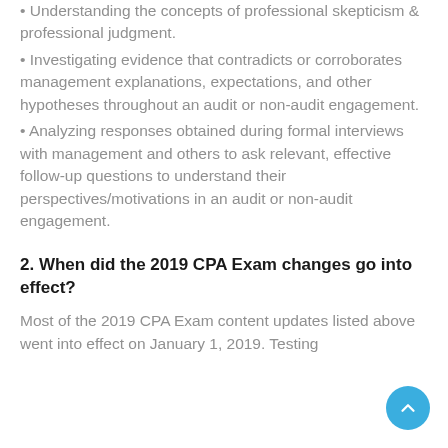• Understanding the concepts of professional skepticism & professional judgment.
• Investigating evidence that contradicts or corroborates management explanations, expectations, and other hypotheses throughout an audit or non-audit engagement.
• Analyzing responses obtained during formal interviews with management and others to ask relevant, effective follow-up questions to understand their perspectives/motivations in an audit or non-audit engagement.
2. When did the 2019 CPA Exam changes go into effect?
Most of the 2019 CPA Exam content updates listed above went into effect on January 1, 2019. Testing